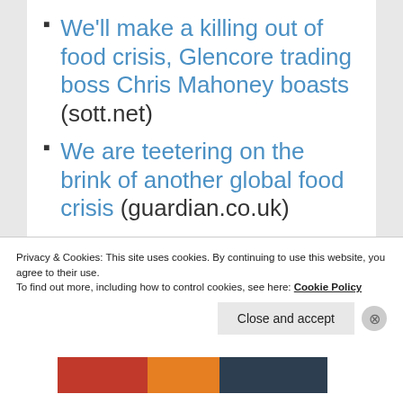We'll make a killing out of food crisis, Glencore trading boss Chris Mahoney boasts (sott.net)
We are teetering on the brink of another global food crisis (guardian.co.uk)
US Drought Could Spell Another Global Food Crisis (motherinnes.com)
Privacy & Cookies: This site uses cookies. By continuing to use this website, you agree to their use.
To find out more, including how to control cookies, see here: Cookie Policy
Close and accept